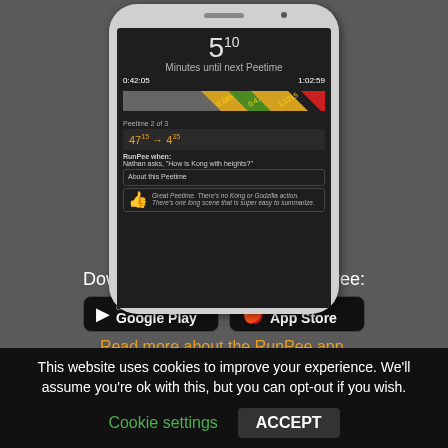[Figure (screenshot): Screenshot of RunPee mobile app displayed inside a phone mockup. Shows a timer '5 10 Minutes until next Peetime', timestamps '0:42:05' and '1:02:59', a diagonal striped timeline bar with labels '0:2850', '0:4715', '1:1215', 'Peetime 2 of 3', times '4715 → 435', 'RunPee when: Nathan asks, How is Kong with heights?', and 'About this Peetime' section with thumbs up icon and text about no Kong or Godzilla action.]
Download the RunPee app for free:
[Figure (logo): Google Play store download button - black rounded rectangle with play icon and 'GET IT ON Google Play' text]
[Figure (logo): Apple App Store download button - black rounded rectangle with Apple icon and 'Download on the App Store' text]
Read more about the RunPee app.
This website uses cookies to improve your experience. We'll assume you're ok with this, but you can opt-out if you wish.
Cookie settings
ACCEPT